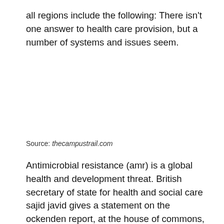all regions include the following: There isn't one answer to health care provision, but a number of systems and issues seem.
Source: thecampustrail.com
Antimicrobial resistance (amr) is a global health and development threat. British secretary of state for health and social care sajid javid gives a statement on the ockenden report, at the house of commons, in london, britain, march 30, 2022.